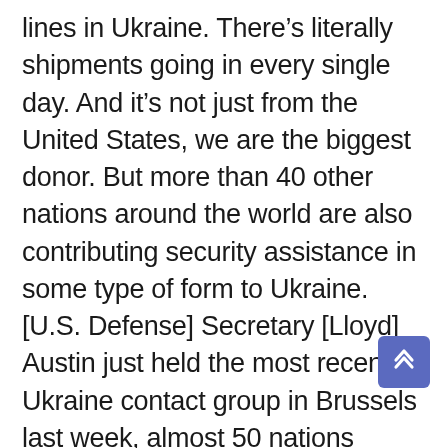lines in Ukraine. There's literally shipments going in every single day. And it's not just from the United States, we are the biggest donor. But more than 40 other nations around the world are also contributing security assistance in some type of form to Ukraine. [U.S. Defense] Secretary [Lloyd] Austin just held the most recent Ukraine contact group in Brussels last week, almost 50 nations showed up, not just from Europe, but from around the world, to look at ways they can continue to continue to support Ukraine and their ability to defend themselves.